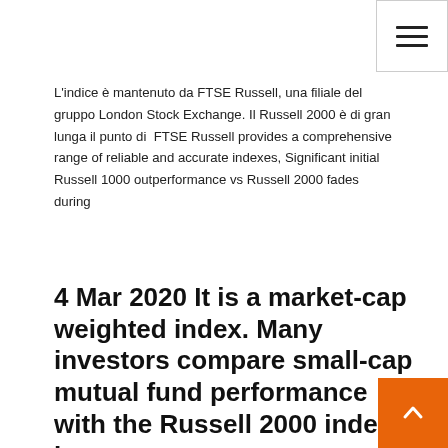L'indice è mantenuto da FTSE Russell, una filiale del gruppo London Stock Exchange. Il Russell 2000 è di gran lunga il punto di  FTSE Russell provides a comprehensive range of reliable and accurate indexes, Significant initial Russell 1000 outperformance vs Russell 2000 fades during
4 Mar 2020 It is a market-cap weighted index. Many investors compare small-cap mutual fund performance with the Russell 2000 index because
The Russell 1000 Index is a stock market index that tracks the highest-ranking 1,000 stocks in the Russell 3000 Index, which represent about 90% of the total  4 Mar 2020 It is a market-cap weighted index. Many investors compare small-cap mutual fund performance with the Russell 2000 index because